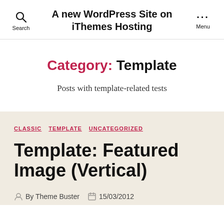A new WordPress Site on iThemes Hosting
Category: Template
Posts with template-related tests
CLASSIC   TEMPLATE   UNCATEGORIZED
Template: Featured Image (Vertical)
By Theme Buster   15/03/2012